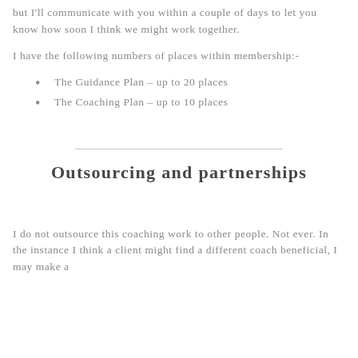but I'll communicate with you within a couple of days to let you know how soon I think we might work together.
I have the following numbers of places within membership:-
The Guidance Plan – up to 20 places
The Coaching Plan – up to 10 places
Outsourcing and partnerships
I do not outsource this coaching work to other people. Not ever. In the instance I think a client might find a different coach beneficial, I may make a